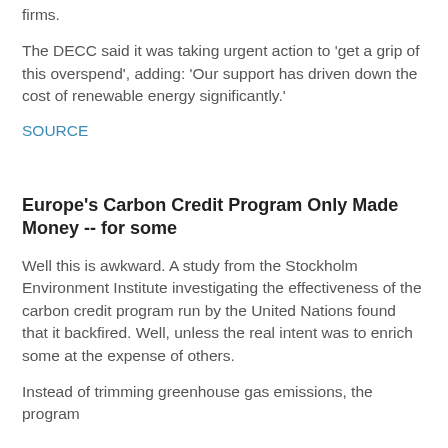firms.
The DECC said it was taking urgent action to 'get a grip of this overspend', adding: 'Our support has driven down the cost of renewable energy significantly.'
SOURCE
Europe's Carbon Credit Program Only Made Money -- for some
Well this is awkward. A study from the Stockholm Environment Institute investigating the effectiveness of the carbon credit program run by the United Nations found that it backfired. Well, unless the real intent was to enrich some at the expense of others.
Instead of trimming greenhouse gas emissions, the program